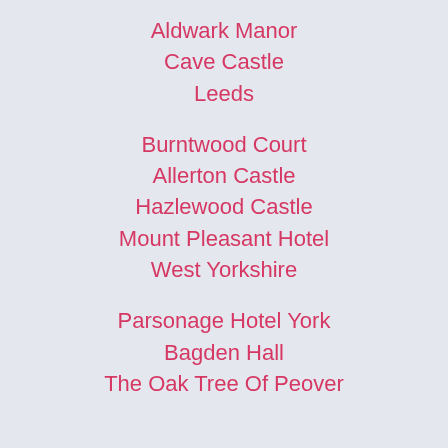Aldwark Manor
Cave Castle
Leeds
Burntwood Court
Allerton Castle
Hazlewood Castle
Mount Pleasant Hotel
West Yorkshire
Parsonage Hotel York
Bagden Hall
The Oak Tree Of Peover